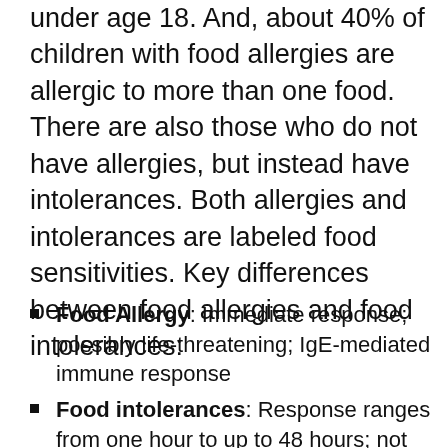under age 18. And, about 40% of children with food allergies are allergic to more than one food. There are also those who do not have allergies, but instead have intolerances. Both allergies and intolerances are labeled food sensitivities. Key differences between food allergies and food intolerances:
Food Allergy: Immediate response; possibly life-threatening; IgE-mediated immune response
Food intolerances: Response ranges from one hour to up to 48 hours; not life-threatening; possibly IgG-mediated immune response
Food Sensitivity Symptoms: acne, brain fog, eczema;